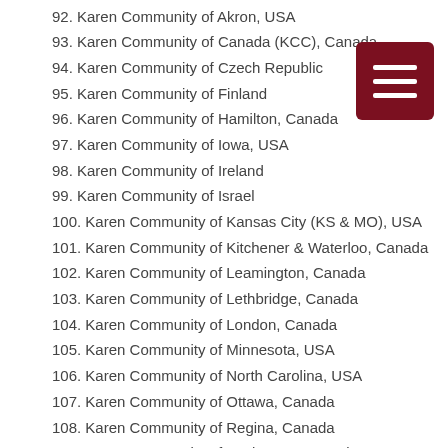92. Karen Community of Akron, USA
93. Karen Community of Canada (KCC), Canada
94. Karen Community of Czech Republic
95. Karen Community of Finland
96. Karen Community of Hamilton, Canada
97. Karen Community of Iowa, USA
98. Karen Community of Ireland
99. Karen Community of Israel
100. Karen Community of Kansas City (KS & MO), USA
101. Karen Community of Kitchener & Waterloo, Canada
102. Karen Community of Leamington, Canada
103. Karen Community of Lethbridge, Canada
104. Karen Community of London, Canada
105. Karen Community of Minnesota, USA
106. Karen Community of North Carolina, USA
107. Karen Community of Ottawa, Canada
108. Karen Community of Regina, Canada
109. Karen Community of Saskatoon, Canada
110. Karen Community of South Carolina, USA